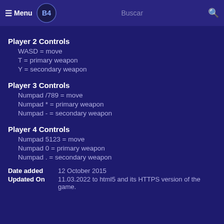Menu | Buscar
Player 2 Controls
WASD = move
T = primary weapon
Y = secondary weapon
Player 3 Controls
Numpad /789 = move
Numpad * = primary weapon
Numpad - = secondary weapon
Player 4 Controls
Numpad 5123 = move
Numpad 0 = primary weapon
Numpad . = secondary weapon
Date added   12 October 2015
Updated On   11.03.2022 to html5 and its HTTPS version of the game.